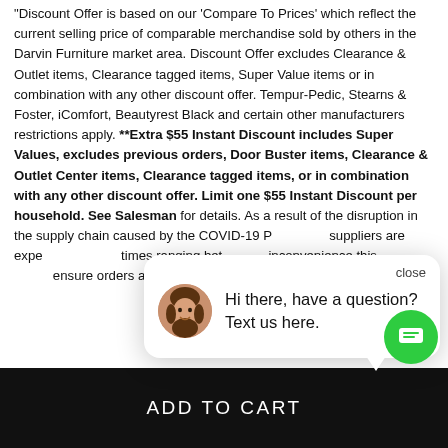"Discount Offer is based on our 'Compare To Prices' which reflect the current selling price of comparable merchandise sold by others in the Darvin Furniture market area. Discount Offer excludes Clearance & Outlet items, Clearance tagged items, Super Value items or in combination with any other discount offer. Tempur-Pedic, Stearns & Foster, iComfort, Beautyrest Black and certain other manufacturers restrictions apply. **Extra $55 Instant Discount includes Super Values, excludes previous orders, Door Buster items, Clearance & Outlet Center items, Clearance tagged items, or in combination with any other discount offer. Limit one $55 Instant Discount per household. See Salesman for details. As a result of the disruption in the supply chain caused by the COVID-19 P... suppliers are expe... times ranging bet... inconvenience this... ensure orders arrive as soon as possible.
[Figure (screenshot): Live chat popup widget showing an avatar of a woman and text 'Hi there, have a question? Text us here.' with a close button and green chat bubble icon.]
ADD TO CART